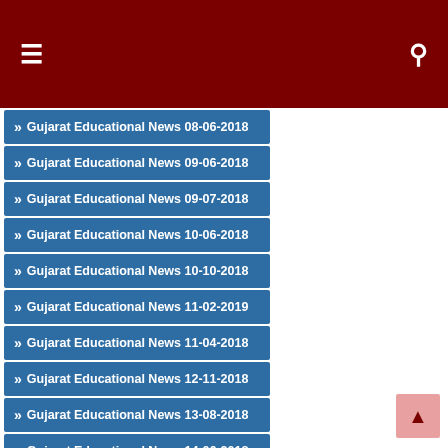Gujarat Educational News 08-06-2018
Gujarat Educational News 09-06-2018
Gujarat Educational News 09-07-2018
Gujarat Educational News 10-06-2018
Gujarat Educational News 10-10-2018
Gujarat Educational News 11-02-2019
Gujarat Educational News 11-04-2018
Gujarat Educational News 12-11-2018
Gujarat Educational News 13-08-2018
Gujarat Educational News 14-06-2018
Gujarat Educational News 14-09-2018
Gujarat Educational News 18-06-2018